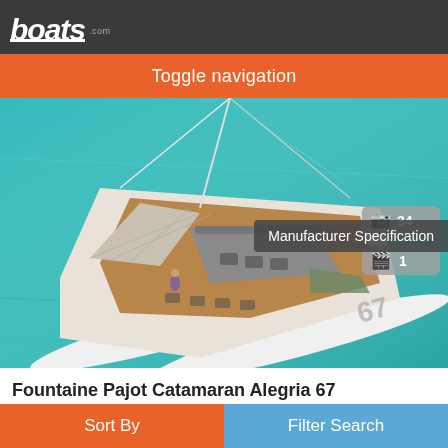boats.com
Toggle navigation
[Figure (photo): Aerial view of a Fountaine Pajot Catamaran Alegria 67 sailing catamaran on turquoise water, showing deck layout from above with people on board. Photo badge shows 34 photos and 1 video. Manufacturer Specification overlay badge in lower right.]
Fountaine Pajot Catamaran Alegria 67
2022
Sort By
Filter Search